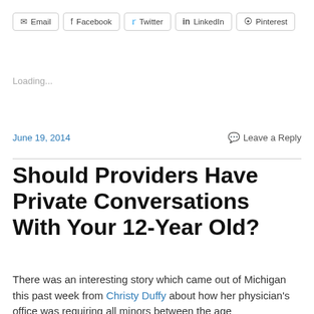[Figure (other): Social share buttons: Email, Facebook, Twitter, LinkedIn, Pinterest]
Loading...
June 19, 2014
Leave a Reply
Should Providers Have Private Conversations With Your 12-Year Old?
There was an interesting story which came out of Michigan this past week from Christy Duffy about how her physician's office was requiring all minors between the age